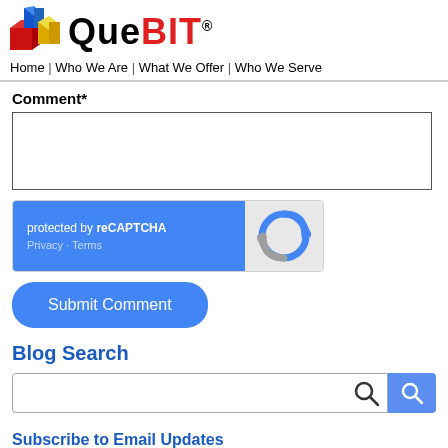QueBIT® — Home | Who We Are | What We Offer | Who We Serve
Comment*
[Figure (screenshot): reCAPTCHA widget: blue left panel with text 'protected by reCAPTCHA' and 'Privacy - Terms' links, gray right panel with reCAPTCHA logo]
Submit Comment
Blog Search
Search input with search icon button
Subscribe to Email Updates